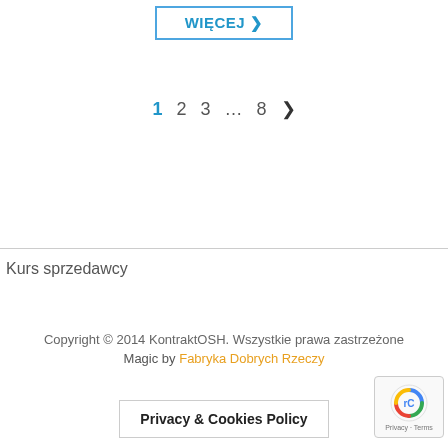WIĘCEJ ❯
1  2  3  ...  8  ❯
Kurs sprzedawcy
Copyright © 2014 KontraktOSH. Wszystkie prawa zastrzeżone
Magic by Fabryka Dobrych Rzeczy
Privacy & Cookies Policy